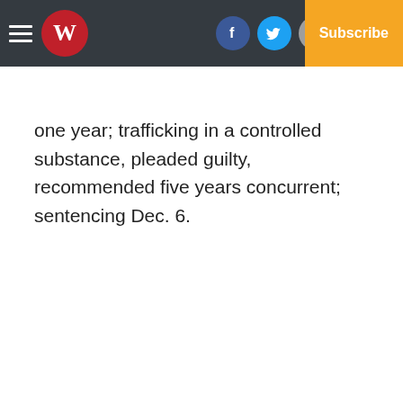Newspaper navigation bar with logo, social icons, Log In, and Subscribe button
one year; trafficking in a controlled substance, pleaded guilty, recommended five years concurrent; sentencing Dec. 6.